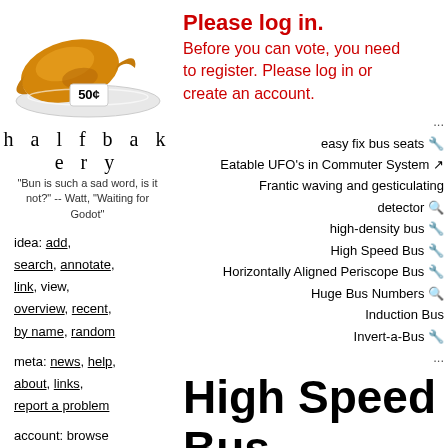[Figure (photo): Croissant on a white plate with a '50¢' price tag]
halfbakery
"Bun is such a sad word, is it not?" -- Watt, "Waiting for Godot"
idea: add, search, annotate, link, view, overview, recent, by name, random
meta: news, help, about, links, report a problem
account: browse anonymously, or get an account
Please log in.
Before you can vote, you need to register. Please log in or create an account.
...
easy fix bus seats
Eatable UFO's in Commuter System
Frantic waving and gesticulating detector
high-density bus
High Speed Bus
Horizontally Aligned Periscope Bus
Huge Bus Numbers
Induction Bus
Invert-a-Bus
...
High Speed Bus
Fast, affordable intercity travel  (+3,
High speed rail has revolutionised intercit...